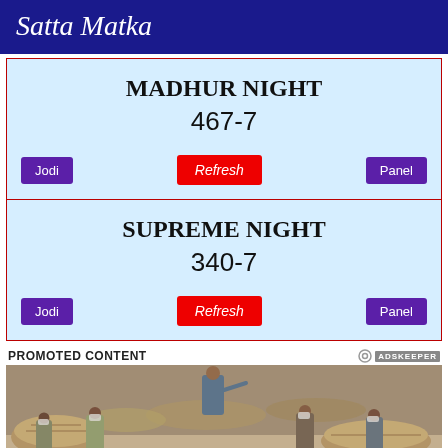Satta Matka
MADHUR NIGHT
467-7
Jodi | Refresh | Panel
SUPREME NIGHT
340-7
Jodi | Refresh | Panel
PROMOTED CONTENT
[Figure (photo): People in masks examining ancient Egyptian sarcophagi at what appears to be an archaeological display or press event.]